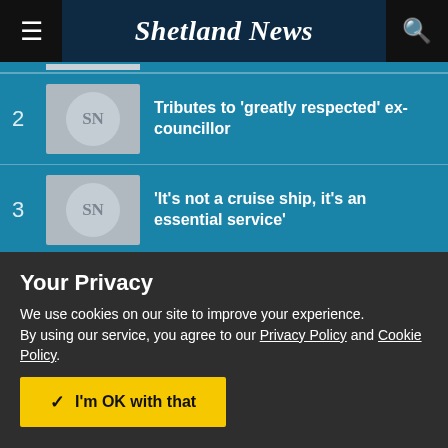Shetland News
2 — Tributes to 'greatly respected' ex-councillor
3 — 'It's not a cruise ship, it's an essential service'
4 — Woman fined after row over land access
Your Privacy
We use cookies on our site to improve your experience.
By using our service, you agree to our Privacy Policy and Cookie Policy.
I'm OK with that